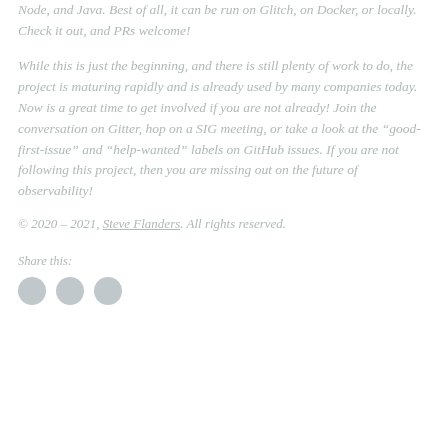Node, and Java. Best of all, it can be run on Glitch, on Docker, or locally. Check it out, and PRs welcome!
While this is just the beginning, and there is still plenty of work to do, the project is maturing rapidly and is already used by many companies today. Now is a great time to get involved if you are not already! Join the conversation on Gitter, hop on a SIG meeting, or take a look at the “good-first-issue” and “help-wanted” labels on GitHub issues. If you are not following this project, then you are missing out on the future of observability!
© 2020 – 2021, Steve Flanders. All rights reserved.
Share this: